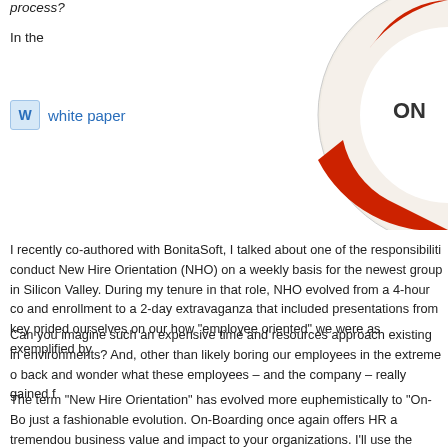process?
In the
white paper
[Figure (photo): A life preserver ring with red and white colors, partially visible on the right side of the page, with text ON B... visible on it.]
I recently co-authored with BonitaSoft, I talked about one of the responsibilities: conduct New Hire Orientation (NHO) on a weekly basis for the newest group in Silicon Valley. During my tenure in that role, NHO evolved from a 4-hour co and enrollment to a 2-day extravaganza that included presentations from key prided ourselves on our how "employee oriented" we were as exemplified by
Can you imagine such an expensive time and resources approach existing in environments?  And, other than likely boring our employees in the extreme o back and wonder what these employees – and the company – really gained f
The term "New Hire Orientation" has evolved more euphemistically to "On-Bo just a fashionable evolution. On-Boarding once again offers HR a tremendou business value and impact to your organizations.  I'll use the Customer Satis previous blogs (Customer Satisfaction vs. Metrics:  Measuring HR Excellence Do a Better Job?)